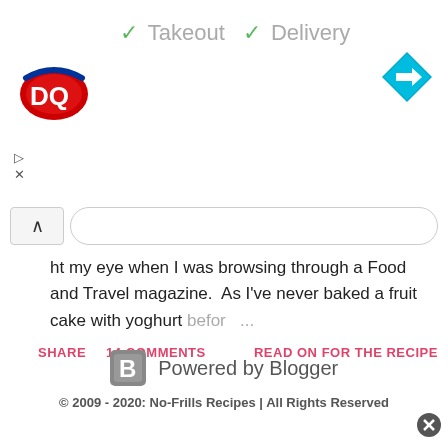[Figure (screenshot): DQ Dairy Queen logo with red and blue oval design]
✓ Takeout  ✓ Delivery
[Figure (other): Blue diamond navigation/directions icon with right arrow]
ht my eye when I was browsing through a Food and Travel magazine.  As I've never baked a fruit cake with yoghurt befor ...
SHARE   14 COMMENTS   READ ON FOR THE RECIPE
[Figure (logo): Powered by Blogger - Blogger B logo icon]
© 2009 - 2020: No-Frills Recipes | All Rights Reserved